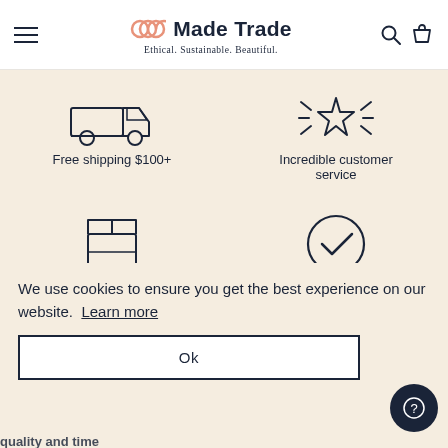Made Trade — Ethical. Sustainable. Beautiful.
[Figure (illustration): Delivery truck icon (outline style, dark navy)]
Free shipping $100+
[Figure (illustration): Star with radiating lines icon (outline style, dark navy)]
Incredible customer service
[Figure (illustration): Box/package icon (outline style, dark navy)]
[Figure (illustration): Circle with checkmark icon (outline style, dark navy)]
We use cookies to ensure you get the best experience on our website. Learn more
Ok